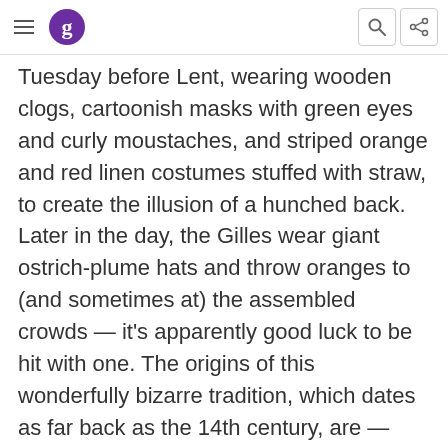[hamburger menu] [Grammarly logo] [search icon] [share icon]
Tuesday before Lent, wearing wooden clogs, cartoonish masks with green eyes and curly moustaches, and striped orange and red linen costumes stuffed with straw, to create the illusion of a hunched back. Later in the day, the Gilles wear giant ostrich-plume hats and throw oranges to (and sometimes at) the assembled crowds — it's apparently good luck to be hit with one. The origins of this wonderfully bizarre tradition, which dates as far back as the 14th century, are — somewhat appropriately — unknown.
Thinking of a trip to Belgium? Take a look at